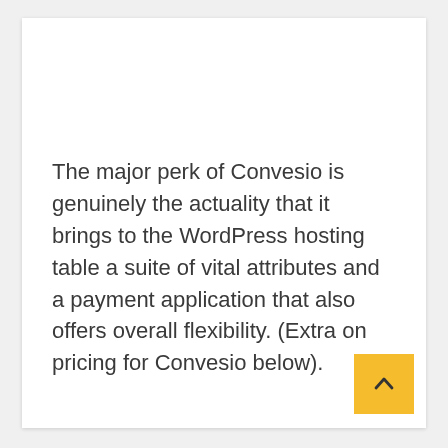The major perk of Convesio is genuinely the actuality that it brings to the WordPress hosting table a suite of vital attributes and a payment application that also offers overall flexibility. (Extra on pricing for Convesio below).